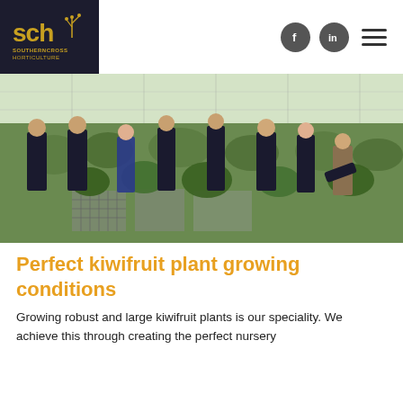SCH Southern Cross Horticulture — navigation header with logo, Facebook, LinkedIn icons and hamburger menu
[Figure (photo): Group of people in dark polo shirts examining kiwifruit plants in a large greenhouse nursery setting, with rows of potted plants and wire supports visible.]
Perfect kiwifruit plant growing conditions
Growing robust and large kiwifruit plants is our speciality. We achieve this through creating the perfect nursery